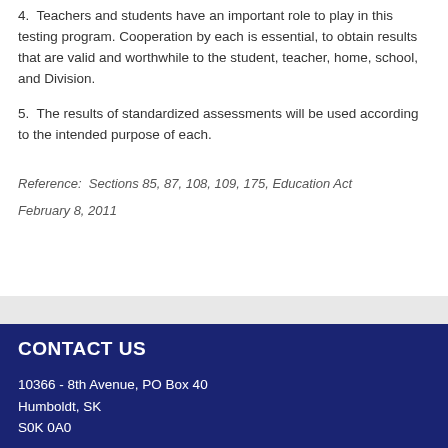4.  Teachers and students have an important role to play in this testing program. Cooperation by each is essential, to obtain results that are valid and worthwhile to the student, teacher, home, school, and Division.
5.  The results of standardized assessments will be used according to the intended purpose of each.
Reference:  Sections 85, 87, 108, 109, 175, Education Act
February 8, 2011
CONTACT US
10366 - 8th Avenue, PO Box 40
Humboldt, SK
S0K 0A0